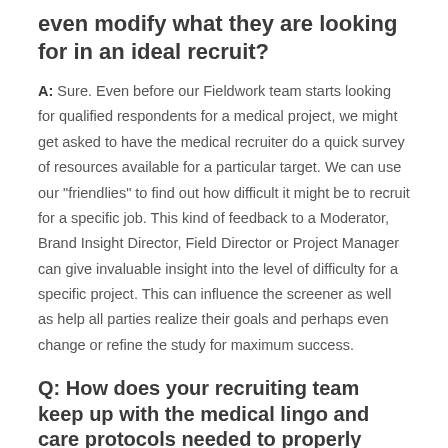even modify what they are looking for in an ideal recruit?
A: Sure. Even before our Fieldwork team starts looking for qualified respondents for a medical project, we might get asked to have the medical recruiter do a quick survey of resources available for a particular target. We can use our "friendlies" to find out how difficult it might be to recruit for a specific job. This kind of feedback to a Moderator, Brand Insight Director, Field Director or Project Manager can give invaluable insight into the level of difficulty for a specific project. This can influence the screener as well as help all parties realize their goals and perhaps even change or refine the study for maximum success.
Q: How does your recruiting team keep up with the medical lingo and care protocols needed to properly understand screener requests?